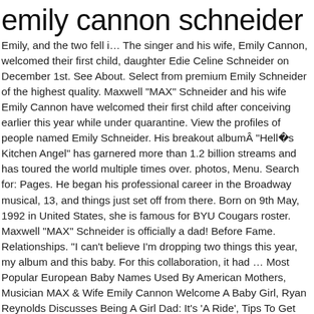emily cannon schneider
Emily, and the two fell i… The singer and his wife, Emily Cannon, welcomed their first child, daughter Edie Celine Schneider on December 1st. See About. Select from premium Emily Schneider of the highest quality. Maxwell "MAX" Schneider and his wife Emily Cannon have welcomed their first child after conceiving earlier this year while under quarantine. View the profiles of people named Emily Schneider. His breakout albumÂ "Hellâs Kitchen Angel" has garnered more than 1.2 billion streams and has toured the world multiple times over. photos, Menu. Search for: Pages. He began his professional career in the Broadway musical, 13, and things just set off from there. Born on 9th May, 1992 in United States, she is famous for BYU Cougars roster. Maxwell "MAX" Schneider is officially a dad! Before Fame. Relationships. "I can't believe I'm dropping two things this year, my album and this baby. For this collaboration, it had … Most Popular European Baby Names Used By American Mothers, Musician MAX & Wife Emily Cannon Welcome A Baby Girl, Ryan Reynolds Discusses Being A Girl Dad: It's 'A Ride', Tips To Get Your Baby Used To Spicy Foods From A Young Age, How To Dress A Baby For Their First Time In The Snow, 7 Socially Distanced Activities To Do With Your Toddler On